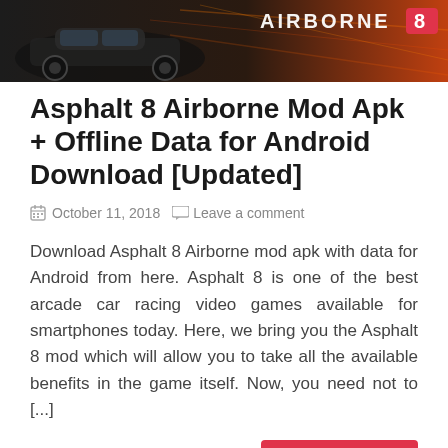[Figure (photo): Banner image for Asphalt 8 Airborne game showing racing cars and 'AIRBORNE 8' logo text on a dark red/orange background]
Asphalt 8 Airborne Mod Apk + Offline Data for Android Download [Updated]
October 11, 2018   Leave a comment
Download Asphalt 8 Airborne mod apk with data for Android from here. Asphalt 8 is one of the best arcade car racing video games available for smartphones today. Here, we bring you the Asphalt 8 mod which will allow you to take all the available benefits in the game itself. Now, you need not to [...]
READ MORE